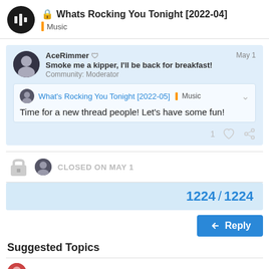Whats Rocking You Tonight [2022-04] — Music
AceRimmer — May 1
Smoke me a kipper, I'll be back for breakfast!
Community: Moderator
What's Rocking You Tonight [2022-05] | Music
Time for a new thread people! Let's have some fun!
CLOSED ON MAY 1
1224 / 1224
Reply
Suggested Topics
Albums you think require/deserve   34